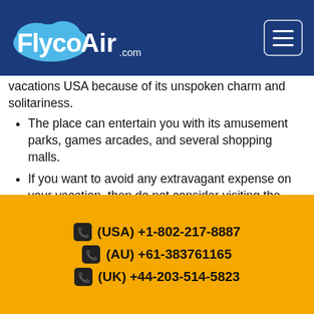[Figure (logo): FlycoAir.com logo on dark blue header bar with hamburger menu button]
vacations USA because of its unspoken charm and solitariness.
The place can entertain you with its amusement parks, games arcades, and several shopping malls.
If you want to avoid any extravagant expense on your vacation, then do not consider visiting the place in the high peak season, which starts in June and ends in September.
If you want to enjoy camping, then you must visit the place when the season is off, and the place is not crowded with fellow tourists.
(USA) +1-802-217-8887 | (AU) +61-383761165 | (UK) +44-203-514-5823